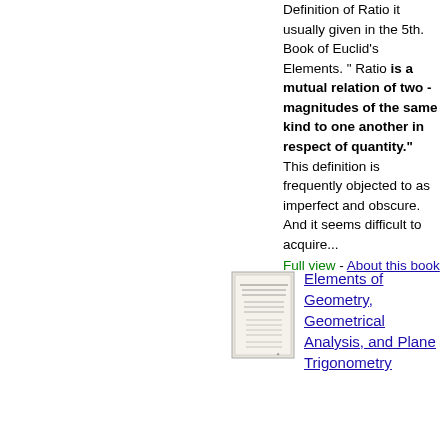Definition of Ratio it usually given in the 5th. Book of Euclid's Elements. " Ratio is a mutual relation of two - magnitudes of the same kind to one another in respect of quantity." This definition is frequently objected to as imperfect and obscure. And it seems difficult to acquire...
Full view - About this book
[Figure (illustration): Small thumbnail image of a book cover for Elements of Geometry, Geometrical Analysis, and Plane Trigonometry]
Elements of Geometry, Geometrical Analysis, and Plane Trigonometry